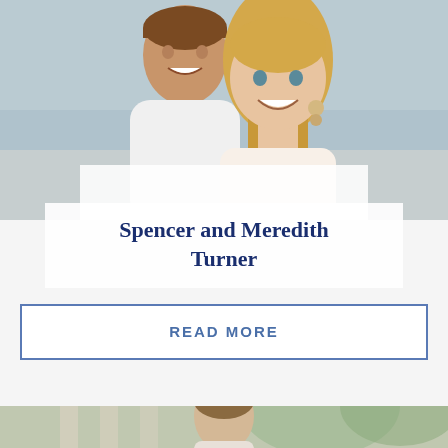[Figure (photo): Photo of a smiling couple — a man and a woman — appearing to be at a beach or outdoor setting. The man is behind the woman, both smiling broadly.]
Spencer and Meredith Turner
READ MORE
[Figure (photo): Bottom partial photo showing another person or couple, only partially visible at the bottom of the page.]